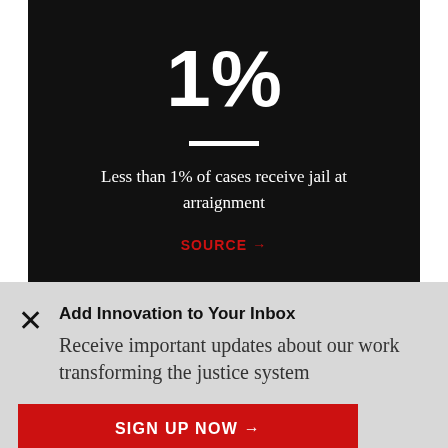1%
Less than 1% of cases receive jail at arraignment
SOURCE →
Add Innovation to Your Inbox
Receive important updates about our work transforming the justice system
SIGN UP NOW →